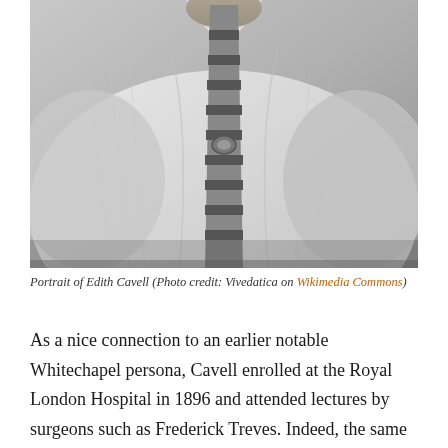[Figure (photo): Black and white historical photograph showing the torso and lower face of a person wearing a white shirt and a striped tie with a decorative pin/brooch. The image is cropped showing approximately from the chin down to the waist.]
Portrait of Edith Cavell (Photo credit: Vivedatica on Wikimedia Commons)
As a nice connection to an earlier notable Whitechapel persona, Cavell enrolled at the Royal London Hospital in 1896 and attended lectures by surgeons such as Frederick Treves. Indeed, the same surgeon who treated Joseph Merrick.